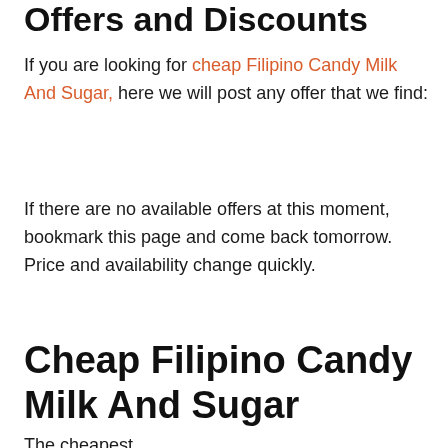Offers and Discounts
If you are looking for cheap Filipino Candy Milk And Sugar, here we will post any offer that we find:
If there are no available offers at this moment, bookmark this page and come back tomorrow. Price and availability change quickly.
Cheap Filipino Candy Milk And Sugar
The cheapest...